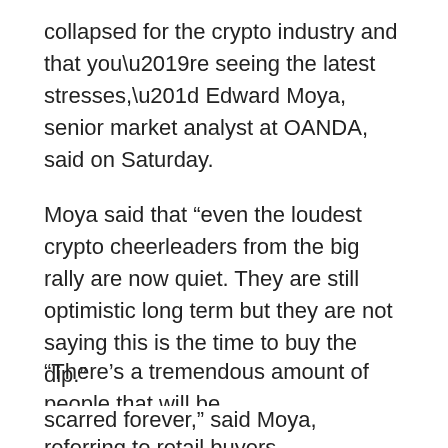collapsed for the crypto industry and that you’re seeing the latest stresses,” Edward Moya, senior market analyst at OANDA, said on Saturday.
Moya said that “even the loudest crypto cheerleaders from the big rally are now quiet. They are still optimistic long term but they are not saying this is the time to buy the dip.”
The sector has also suffered losses after companies such as Coinbase Global Inc (COIN.O), Gemini and BlockFi said they would lay off thousands of employees as investors ditch risky assets.
The slide is hitting retail investors that bought into the asset.
“There’s a tremendous amount of people that will be scarred forever,” said Moya, referring to retail buyers.